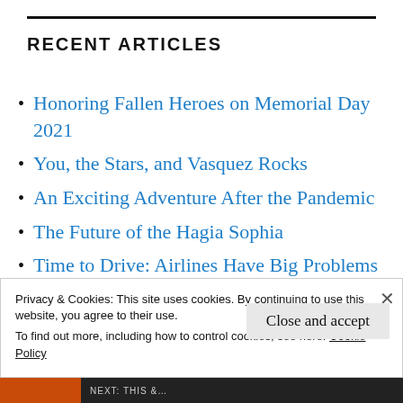RECENT ARTICLES
Honoring Fallen Heroes on Memorial Day 2021
You, the Stars, and Vasquez Rocks
An Exciting Adventure After the Pandemic
The Future of the Hagia Sophia
Time to Drive: Airlines Have Big Problems
The Queen Mary Hotel is Open for Business
Privacy & Cookies: This site uses cookies. By continuing to use this website, you agree to their use.
To find out more, including how to control cookies, see here:
Cookie Policy
Close and accept